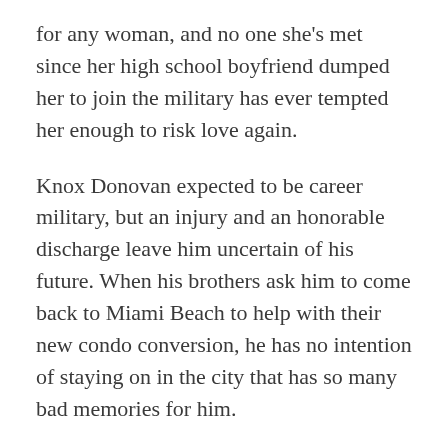for any woman, and no one she's met since her high school boyfriend dumped her to join the military has ever tempted her enough to risk love again.
Knox Donovan expected to be career military, but an injury and an honorable discharge leave him uncertain of his future. When his brothers ask him to come back to Miami Beach to help with their new condo conversion, he has no intention of staying on in the city that has so many bad memories for him.
Knox is reminded that not all his memories are bad when he sees Danielle again at the grand opening of the new Fur Haven Dog Park. Fifteen